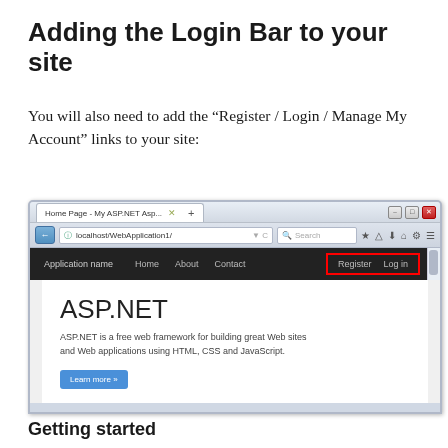Adding the Login Bar to your site
You will also need to add the “Register / Login / Manage My Account” links to your site:
[Figure (screenshot): Browser screenshot showing an ASP.NET web application with a navigation bar containing 'Application name', 'Home', 'About', 'Contact' links and 'Register' and 'Log in' links highlighted with a red rectangle on the right side. The page body shows 'ASP.NET' heading and description text with a 'Learn more »' button.]